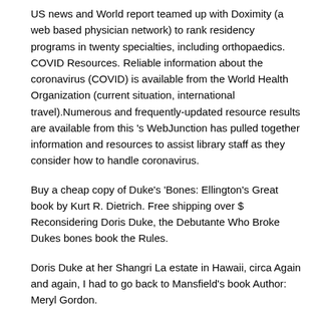US news and World report teamed up with Doximity (a web based physician network) to rank residency programs in twenty specialties, including orthopaedics. COVID Resources. Reliable information about the coronavirus (COVID) is available from the World Health Organization (current situation, international travel).Numerous and frequently-updated resource results are available from this 's WebJunction has pulled together information and resources to assist library staff as they consider how to handle coronavirus.
Buy a cheap copy of Duke's 'Bones: Ellington's Great book by Kurt R. Dietrich. Free shipping over $   Reconsidering Doris Duke, the Debutante Who Broke Dukes bones book the Rules.
Doris Duke at her Shangri La estate in Hawaii, circa Again and again, I had to go back to Mansfield's book Author: Meryl Gordon.
Duke University Press Read the Fall and Winter Catalog. Featuring new books by Lesley Stern, Jack Halberstam, José Esteban Muñoz, R. Judy, Katherine McKittrick, Diana Taylor, Emily J.